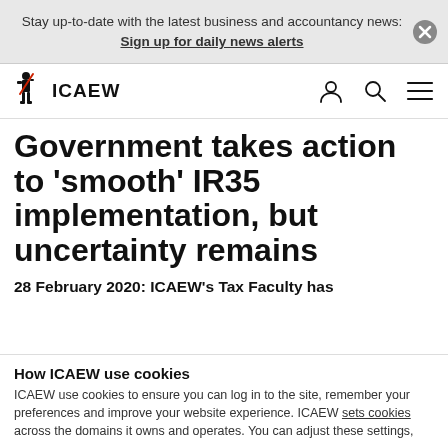Stay up-to-date with the latest business and accountancy news: Sign up for daily news alerts
[Figure (logo): ICAEW logo with knight figure and red diagonal line, followed by bold text ICAEW. Navigation icons for user, search, and menu on the right.]
Government takes action to ‘smooth’ IR35 implementation, but uncertainty remains
28 February 2020: ICAEW’s Tax Faculty has
How ICAEW use cookies
ICAEW use cookies to ensure you can log in to the site, remember your preferences and improve your website experience. ICAEW sets cookies across the domains it owns and operates. You can adjust these settings,